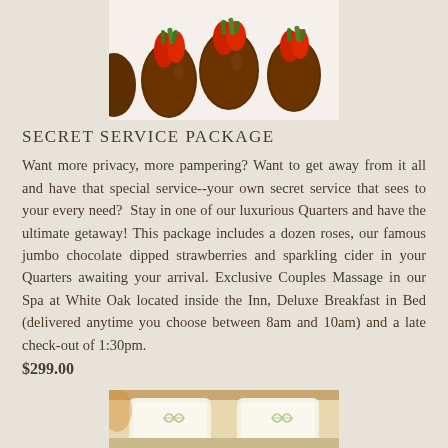[Figure (photo): Chocolate dipped strawberries on a white surface, viewed from above]
SECRET SERVICE PACKAGE
Want more privacy, more pampering? Want to get away from it all and have that special service--your own secret service that sees to your every need?  Stay in one of our luxurious Quarters and have the ultimate getaway! This package includes a dozen roses, our famous jumbo chocolate dipped strawberries and sparkling cider in your Quarters awaiting your arrival. Exclusive Couples Massage in our Spa at White Oak located inside the Inn, Deluxe Breakfast in Bed (delivered anytime you choose between 8am and 10am) and a late check-out of 1:30pm.
$299.00
[Figure (photo): Hotel bed with white pillows and decorative leaf embroidery, warm lighting]